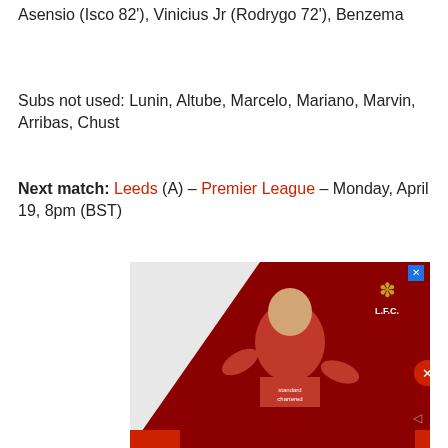Asensio (Isco 82'), Vinicius Jr (Rodrygo 72'), Benzema
Subs not used: Lunin, Altube, Marcelo, Mariano, Marvin, Arribas, Chust
Next match: Leeds (A) – Premier League – Monday, April 19, 8pm (BST)
[Figure (photo): Liverpool FC advertisement featuring a player in a red Standard Chartered jersey, posing against a dark red and white background with the LFC badge visible.]